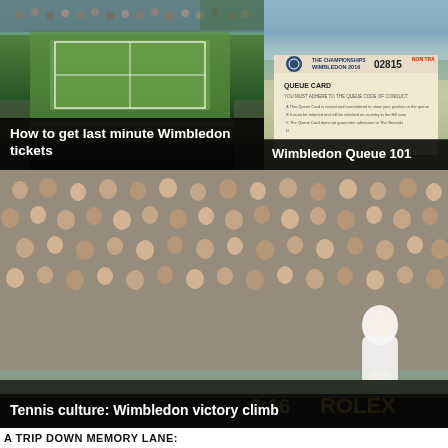[Figure (photo): Aerial view of Wimbledon tennis court filled with spectators]
How to get last minute Wimbledon tickets
[Figure (photo): Wimbledon Championships 2016 queue card numbered 02815, non-transferable]
Wimbledon Queue 101
[Figure (photo): Tennis player climbing into crowd at Wimbledon, surrounded by spectators photographing. Rolex advertising board visible.]
Tennis culture: Wimbledon victory climb
A TRIP DOWN MEMORY LANE: